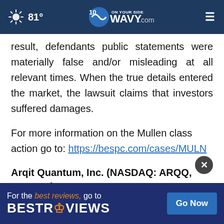81° WAVY.com ON YOUR SIDE
result, defendants public statements were materially false and/or misleading at all relevant times. When the true details entered the market, the lawsuit claims that investors suffered damages.
For more information on the Mullen class action go to: https://bespc.com/cases/MULN
Arqit Quantum, Inc. (NASDAQ: ARQQ, ARQQW)
Class ... 2022